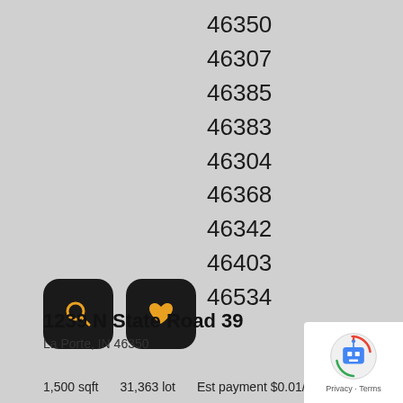46350
46307
46385
46383
46304
46368
46342
46403
46534
[Figure (illustration): Two dark rounded square icon buttons: a magnifying glass icon and a heart icon, both with yellow/gold icons on dark background]
1239 N State Road 39
La Porte, IN 46350
1,500 sqft   31,363 lot   Est payment $0.01/mo
[Figure (logo): Google reCAPTCHA badge with robot icon, Privacy and Terms links]